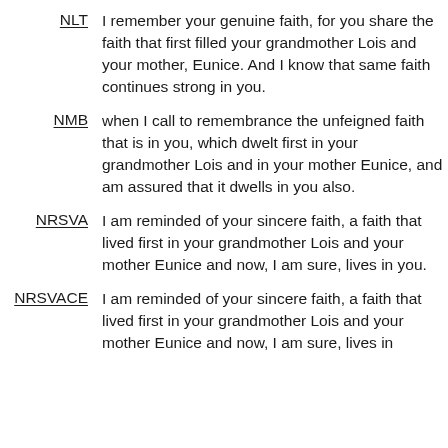NLT: I remember your genuine faith, for you share the faith that first filled your grandmother Lois and your mother, Eunice. And I know that same faith continues strong in you.
NMB: when I call to remembrance the unfeigned faith that is in you, which dwelt first in your grandmother Lois and in your mother Eunice, and am assured that it dwells in you also.
NRSVA: I am reminded of your sincere faith, a faith that lived first in your grandmother Lois and your mother Eunice and now, I am sure, lives in you.
NRSVACE: I am reminded of your sincere faith, a faith that lived first in your grandmother Lois and your mother Eunice and now, I am sure, lives in